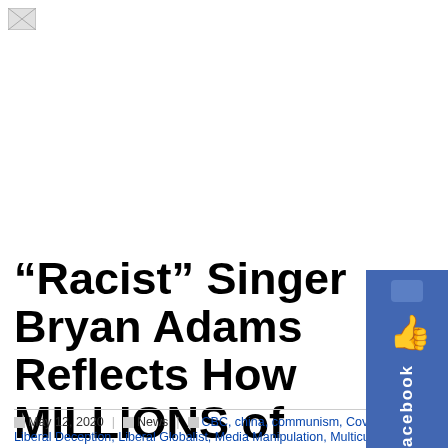[Figure (logo): Small image placeholder/logo in top left corner]
“Racist” Singer Bryan Adams Reflects How MILLIONS of Canadians feel about China, Covid-19
[Figure (other): Facebook like/share button widget on the right side, blue background with thumbs up icon and 'facebook' text]
May 12, 2020 | News | CBC, china, communism, Covid-19, Liberal Deception, Liberal Globalist, Media Manipulation, Multicultural